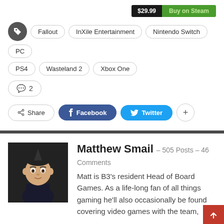Fallout
InXile Entertainment
Nintendo Switch
PC
PS4
Wasteland 2
Xbox One
💬 2
Share  Facebook  Twitter  +
[Figure (photo): Avatar/profile image of Matthew Smail — a cartoon-style 3D character with dark hair and a dark costume, on a dark background]
Matthew Smail – 505 Posts – 46 Comments
Matt is B3's resident Head of Board Games. As a life-long fan of all things gaming he'll also occasionally be found covering video games with the team,